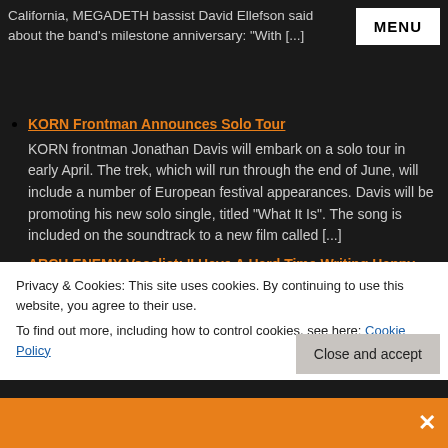California, MEGADETH bassist David Ellefson said about the band's milestone anniversary: "With [...]
MENU
KORN Frontman Announces Solo Tour
KORN frontman Jonathan Davis will embark on a solo tour in early April. The trek, which will run through the end of June, will include a number of European festival appearances. Davis will be promoting his new solo single, titled "What It Is". The song is included on the soundtrack to a new film called [...]
ARCH ENEMY Vocalist: 'I Have A Hard Time Writing Happy Things'
Spark TV, which is part of the Czech monthly magazine Spark, conducted an interview with ARCH ENEMY vocalist...
Privacy & Cookies: This site uses cookies. By continuing to use this website, you agree to their use.
To find out more, including how to control cookies, see here: Cookie Policy
Close and accept